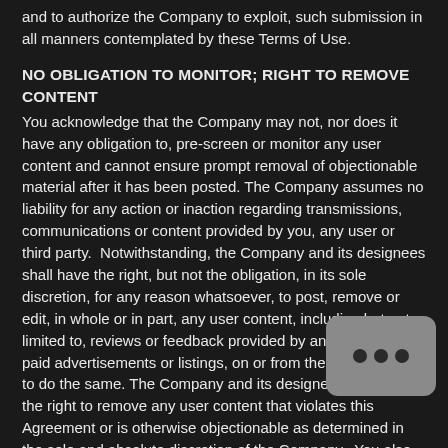and to authorize the Company to exploit, such submission in all manners contemplated by these Terms of Use.
NO OBLIGATION TO MONITOR; RIGHT TO REMOVE CONTENT
You acknowledge that the Company may not, nor does it have any obligation to, pre-screen or monitor any user content and cannot ensure prompt removal of objectionable material after it has been posted. The Company assumes no liability for any action or inaction regarding transmissions, communications or content provided by you, any user or third party.  Notwithstanding, the Company and its designees shall have the right, but not the obligation, in its sole discretion, for any reason whatsoever, to post, remove or edit, in whole or in part, any user content, including but not limited to, reviews or feedback provided by any user, free or paid advertisements or listings, on or from the Site, or refuse to do the same. The Company and its designees shall have the right to remove any user content that violates this Agreement or is otherwise objectionable as determined in the sole and absolute discretion of the Company.  You also acknowledge that the Company shall have the right to disclose your identity to any party who claims that material posted by you violates their rights, including their intellectual property rights or their right to privacy and to take appropriate legal action , including without limitation, referral to law enforcement, for any illegal or unauthorized use of the Site.